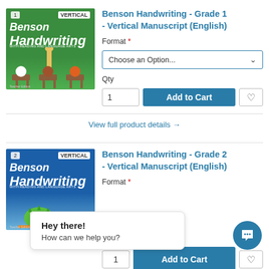[Figure (photo): Benson Handwriting Grade 1 book cover — green background with cartoon animals sitting at school desks]
Benson Handwriting - Grade 1 - Vertical Manuscript (English)
Format *
Choose an Option...
Qty
1
Add to Cart
View full product details →
[Figure (photo): Benson Handwriting Grade 2 book cover — blue background with cartoon monsters]
Benson Handwriting - Grade 2 - Vertical Manuscript (English)
Format *
Hey there!
How can we help you?
Add to Cart